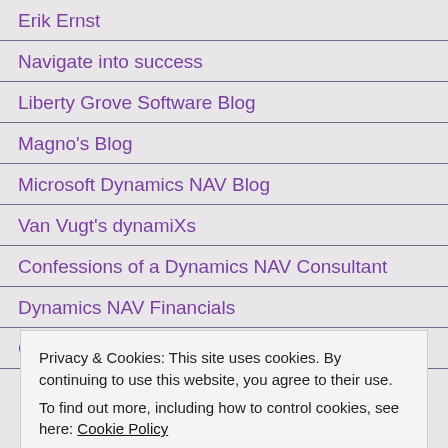Erik Ernst
Navigate into success
Liberty Grove Software Blog
Magno's Blog
Microsoft Dynamics NAV Blog
Van Vugt's dynamiXs
Confessions of a Dynamics NAV Consultant
Dynamics NAV Financials
Gunnar's Blog
Privacy & Cookies: This site uses cookies. By continuing to use this website, you agree to their use.
To find out more, including how to control cookies, see here: Cookie Policy
Close and accept